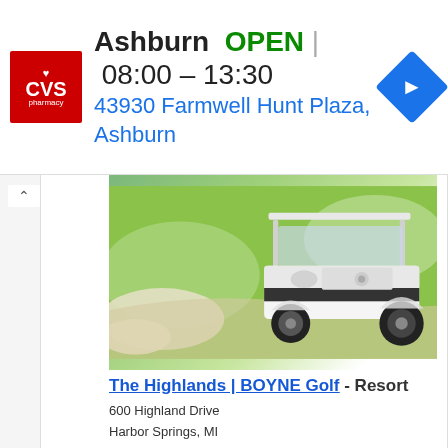[Figure (screenshot): CVS Pharmacy advertisement banner showing location in Ashburn, OPEN 08:00 – 13:30, address 43930 Farmwell Hunt Plaza, Ashburn, with navigation icon]
[Figure (photo): Photo of a white golf cart on a golf course with green grass and sand bunker]
The Highlands | BOYNE Golf - Resort
600 Highland Drive
Harbor Springs, MI
844.602.4841
Get Wedding Information
View Wedding Reception Information »
With three spectacular settings to choose from - and award-winning spas - our northern Michigan resorts are natural destinations for weddings, social gatherings and special events. Whether you're contemplating a no-